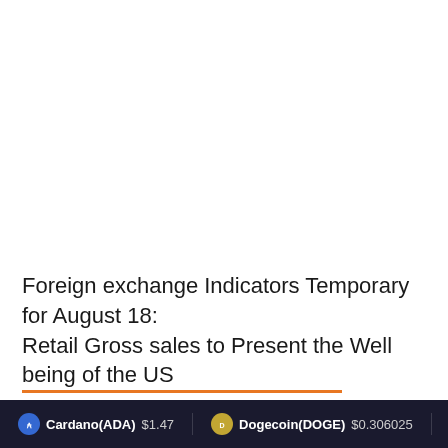Foreign exchange Indicators Temporary for August 18: Retail Gross sales to Present the Well being of the US
Cardano(ADA) $1.47   Dogecoin(DOGE) $0.306025   XRP